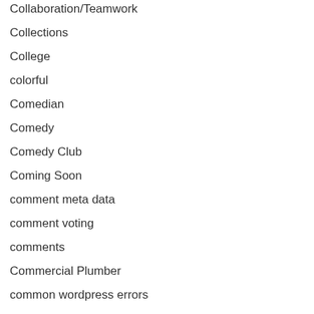Collaboration/Teamwork
Collections
College
colorful
Comedian
Comedy
Comedy Club
Coming Soon
comment meta data
comment voting
comments
Commercial Plumber
common wordpress errors